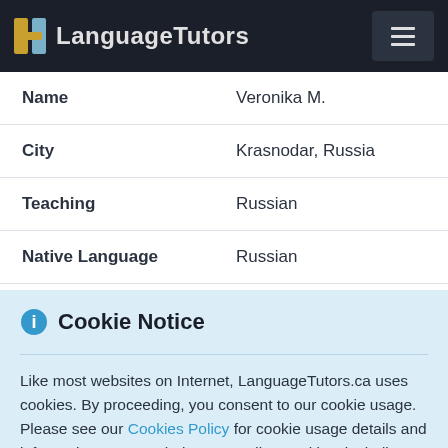LanguageTutors
| Field | Value |
| --- | --- |
| Name | Veronika M. |
| City | Krasnodar, Russia |
| Teaching | Russian |
| Native Language | Russian |
Cookie Notice
Like most websites on Internet, LanguageTutors.ca uses cookies. By proceeding, you consent to our cookie usage. Please see our Cookies Policy for cookie usage details and information on your choices regarding cookies, including on how to disable them if you wish so.
I understand & agree